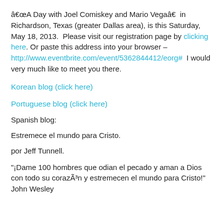“A Day with Joel Comiskey and Mario Vega” in Richardson, Texas (greater Dallas area), is this Saturday, May 18, 2013. Please visit our registration page by clicking here. Or paste this address into your browser – http://www.eventbrite.com/event/5362844412/eorg# I would very much like to meet you there.
Korean blog (click here)
Portuguese blog (click here)
Spanish blog:
Estremece el mundo para Cristo.
por Jeff Tunnell.
“¡Dame 100 hombres que odian el pecado y aman a Dios con todo su corazÃ³n y estremecen el mundo para Cristo!” John Wesley